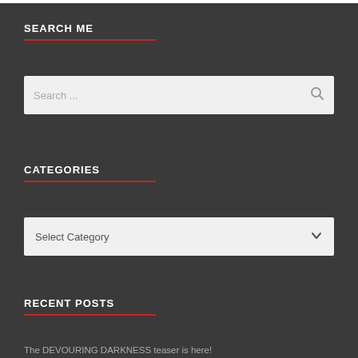SEARCH ME
Search ...
CATEGORIES
Select Category
RECENT POSTS
The DEVOURING DARKNESS teaser is here!